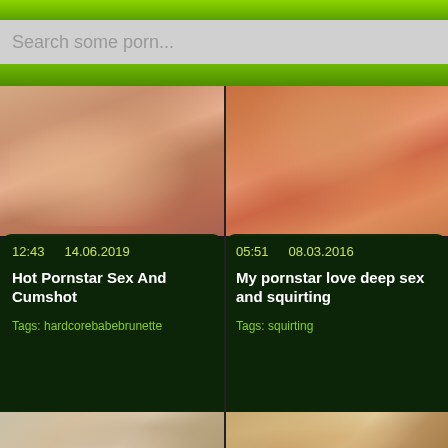Search some porn...
[Figure (screenshot): Video thumbnail left - skin tone scene]
12:43   14.06.2019
Hot Pornstar Sex And Cumshot
Tags: hardcorebabebrunette
[Figure (screenshot): Video thumbnail right - orange background scene]
05:51   08.03.2016
My pornstar love deep sex and squirting
Tags: squirting
[Figure (screenshot): Third row left thumbnail - close-up scene]
[Figure (screenshot): Third row right thumbnail - close-up scene]